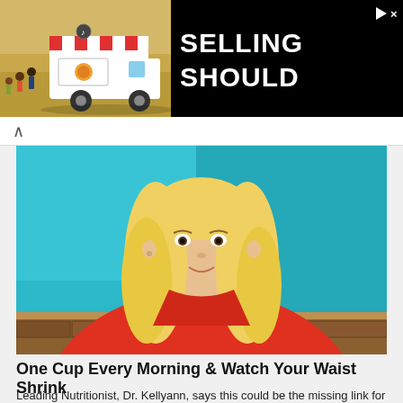[Figure (photo): Advertisement banner showing an ice cream truck on a sandy beach background on the left side, and the text 'SELLING SHOULD' in large white bold letters on a black background on the right side, with a play button icon and close X in the upper right corner.]
[Figure (photo): Television screenshot of a blonde woman wearing a red top, seated against a teal/cyan background, apparently speaking on a TV show. She has long wavy blonde hair and is wearing a small lapel microphone.]
One Cup Every Morning & Watch Your Waist Shrink
Leading Nutritionist, Dr. Kellyann, says this could be the missing link for Americans to get healthy.